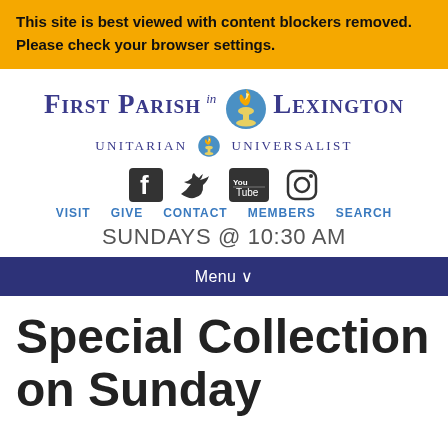This site is best viewed with content blockers removed. Please check your browser settings.
[Figure (logo): First Parish in Lexington Unitarian Universalist logo with flame chalice icon]
[Figure (infographic): Social media icons: Facebook, Twitter, YouTube, Instagram]
VISIT   GIVE   CONTACT   MEMBERS   SEARCH
SUNDAYS @ 10:30 AM
Menu
Special Collection on Sunday